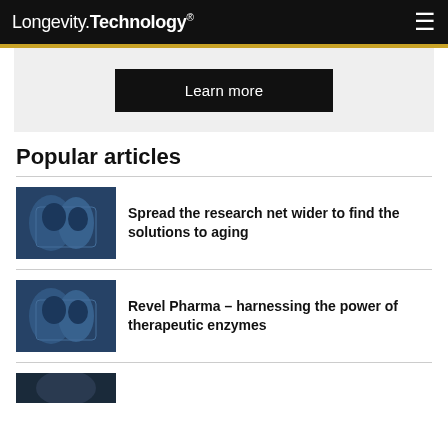Longevity.Technology®
[Figure (other): Learn more button on light gray banner background]
Popular articles
[Figure (photo): Medical/surgical scene with people in blue scrubs]
Spread the research net wider to find the solutions to aging
[Figure (photo): Medical/surgical scene with people in blue scrubs]
Revel Pharma – harnessing the power of therapeutic enzymes